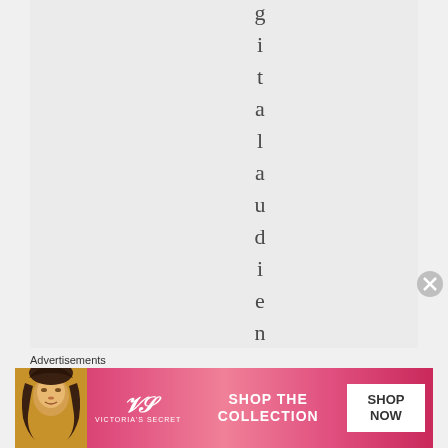g i t a l a u d i e n c e
[Figure (illustration): Victoria's Secret advertisement banner showing a model with curly hair, the VS logo, text 'SHOP THE COLLECTION', and a 'SHOP NOW' button on a pink gradient background]
Advertisements